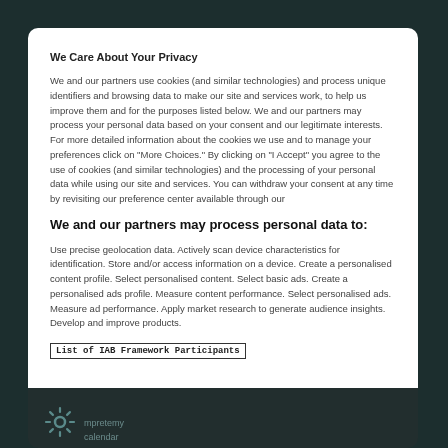We Care About Your Privacy
We and our partners use cookies (and similar technologies) and process unique identifiers and browsing data to make our site and services work, to help us improve them and for the purposes listed below. We and our partners may process your personal data based on your consent and our legitimate interests. For more detailed information about the cookies we use and to manage your preferences click on "More Choices." By clicking on "I Accept" you agree to the use of cookies (and similar technologies) and the processing of your personal data while using our site and services. You can withdraw your consent at any time by revisiting our preference center available through our
We and our partners may process personal data to:
Use precise geolocation data. Actively scan device characteristics for identification. Store and/or access information on a device. Create a personalised content profile. Select personalised content. Select basic ads. Create a personalised ads profile. Measure content performance. Select personalised ads. Measure ad performance. Apply market research to generate audience insights. Develop and improve products.
List of IAB Framework Participants